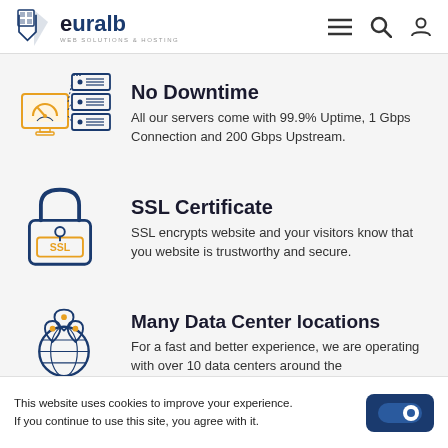euralb — WEB SOLUTIONS & HOSTING
No Downtime
All our servers come with 99.9% Uptime, 1 Gbps Connection and 200 Gbps Upstream.
SSL Certificate
SSL encrypts website and your visitors know that you website is trustworthy and secure.
Many Data Center locations
For a fast and better experience, we are operating with over 10 data centers around the
This website uses cookies to improve your experience. If you continue to use this site, you agree with it.